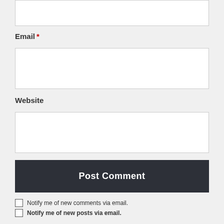[Figure (screenshot): Top portion of a text input field, partially visible at the top of the page]
Email *
[Figure (screenshot): Email text input field, empty white box]
Website
[Figure (screenshot): Website text input field, empty white box]
Post Comment
Notify me of new comments via email.
Notify me of new posts via email.